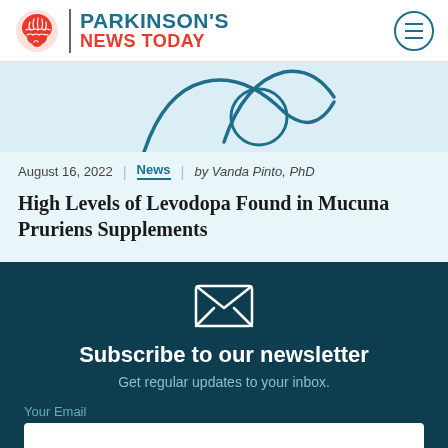PARKINSON'S NEWS TODAY
[Figure (illustration): Partial illustration of abstract curved line drawing on light blue background]
August 16, 2022 | News | by Vanda Pinto, PhD
High Levels of Levodopa Found in Mucuna Pruriens Supplements
Subscribe to our newsletter
Get regular updates to your inbox.
Your Email